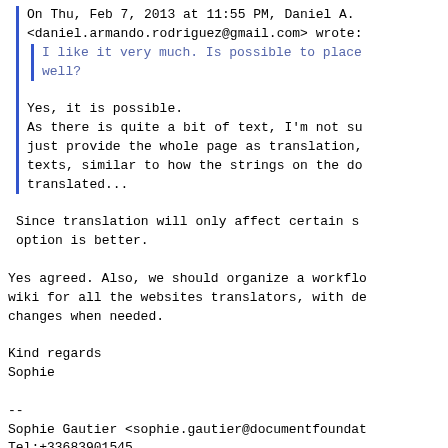On Thu, Feb 7, 2013 at 11:55 PM, Daniel A. <daniel.armando.rodriguez@gmail.com> wrote:
I like it very much. Is possible to place well?
Yes, it is possible.
As there is quite a bit of text, I'm not su just provide the whole page as translation, texts, similar to how the strings on the do translated...
Since translation will only affect certain s option is better.
Yes agreed. Also, we should organize a workflo wiki for all the websites translators, with de changes when needed.
Kind regards
Sophie
--
Sophie Gautier <sophie.gautier@documentfoundat
Tel:+33683901545
Membership & Certification Committee Member -